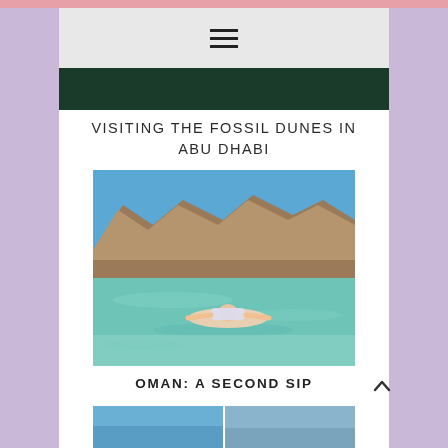[Figure (screenshot): Navigation bar with hamburger menu icon on light gray background]
[Figure (photo): Dark green banner/header image]
VISITING THE FOSSIL DUNES IN ABU DHABI
[Figure (photo): Person floating on back in clear shallow turquoise water with rocky mountains in background]
OMAN: A SECOND SIP
[Figure (photo): Partial view of another photo at bottom of page]